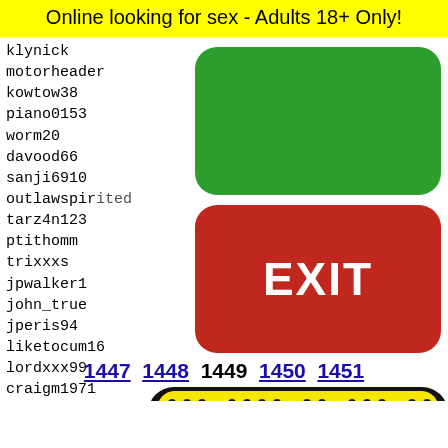Online looking for sex - Adults 18+ Only!
klynick
motorheader
kowtow38
piano0153
worm20
davood66
sanji6910
outlawspirited
tarz4n123
ptithomm
trixxxs
jpwalker1
john_true
jperis94
liketocum16
lordxxx99
craigm1971
tnhg
warner_bro
ricard---21
qazxsw
leaflea
jos_90
unclea
anil33
nercol
[Figure (other): Green rounded rectangle button (no text)]
[Figure (other): Red rounded rectangle EXIT button with white bold text EXIT]
1447 1448 1449 1450 1451
[Figure (illustration): Snapchat ghost logo on yellow background with black rounded rectangle border, dots pattern visible, partial ghost face at bottom]